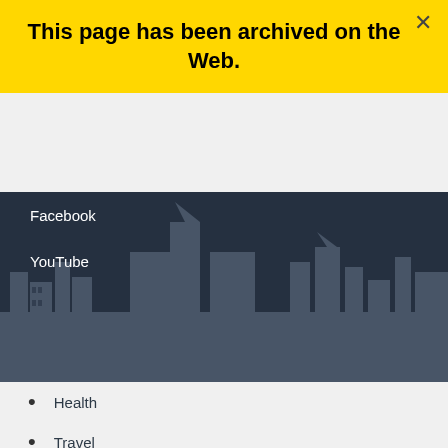This page has been archived on the Web.
Facebook
YouTube
Health
Travel
Service Canada
Jobs
Canada.ca